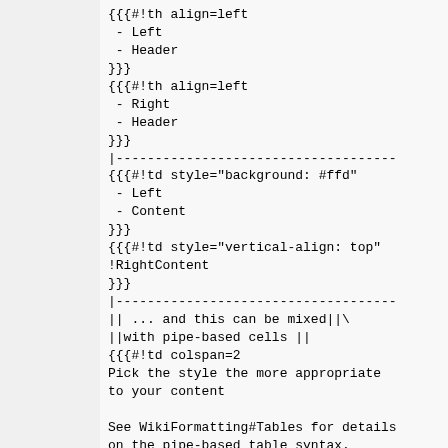{{{#!th align=left
 - Left
 - Header
}}}
{{{#!th align=left
 - Right
 - Header
}}}
|------------------------------------
{{{#!td style="background: #ffd"
 - Left
 - Content
}}}
{{{#!td style="vertical-align: top"
!RightContent
}}}
|------------------------------------
|| ... and this can be mixed||\
||with pipe-based cells ||
{{{#!td colspan=2
Pick the style the more appropriate
to your content

See WikiFormatting#Tables for details
on the pipe-based table syntax.
}}}

If one needs to add some
attributes to the table itself...

{{{
#!table style="border:none;text-align:center;margin:a